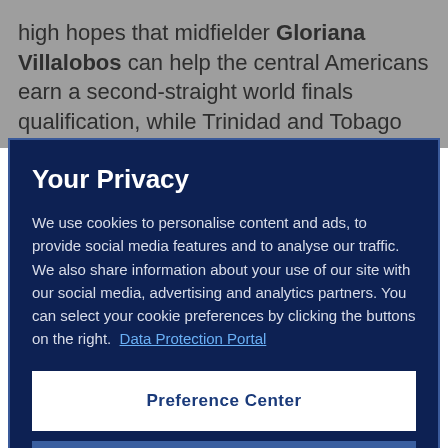high hopes that midfielder Gloriana Villalobos can help the central Americans earn a second-straight world finals qualification, while Trinidad and Tobago will look
Your Privacy
We use cookies to personalise content and ads, to provide social media features and to analyse our traffic. We also share information about your use of our site with our social media, advertising and analytics partners. You can select your cookie preferences by clicking the buttons on the right.  Data Protection Portal
Preference Center
Reject All
I'm OK with that